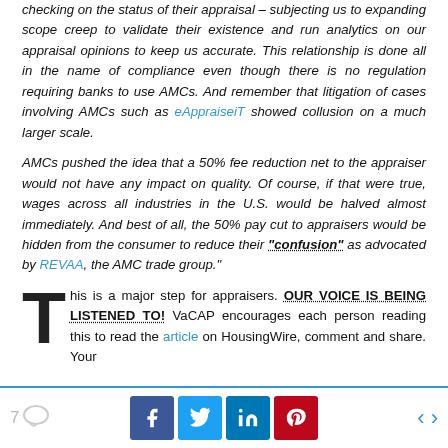checking on the status of their appraisal – subjecting us to expanding scope creep to validate their existence and run analytics on our appraisal opinions to keep us accurate. This relationship is done all in the name of compliance even though there is no regulation requiring banks to use AMCs. And remember that litigation of cases involving AMCs such as eAppraiseiT showed collusion on a much larger scale.
AMCs pushed the idea that a 50% fee reduction net to the appraiser would not have any impact on quality. Of course, if that were true, wages across all industries in the U.S. would be halved almost immediately. And best of all, the 50% pay cut to appraisers would be hidden from the consumer to reduce their "confusion" as advocated by REVAA, the AMC trade group."
This is a major step for appraisers. OUR VOICE IS BEING LISTENED TO! VaCAP encourages each person reading this to read the article on HousingWire, comment and share. Your
7  f  t  in  p  < >